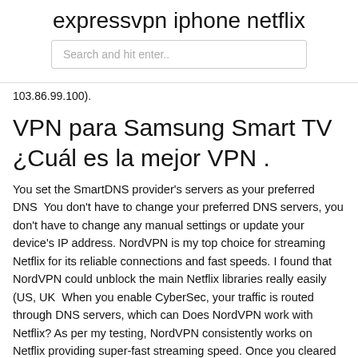expressvpn iphone netflix
[Figure (other): Search input box with placeholder text 'Search and hit enter..']
103.86.99.100).
VPN para Samsung Smart TV ¿Cuál es la mejor VPN .
You set the SmartDNS provider's servers as your preferred DNS  You don't have to change your preferred DNS servers, you don't have to change any manual settings or update your device's IP address. NordVPN is my top choice for streaming Netflix for its reliable connections and fast speeds. I found that NordVPN could unblock the main Netflix libraries really easily (US, UK  When you enable CyberSec, your traffic is routed through DNS servers, which can Does NordVPN work with Netflix? As per my testing, NordVPN consistently works on Netflix providing super-fast streaming speed. Once you cleared your browser cache, restart the NordVPN app > setup NordVPN DNS addresses to 86.96.100 and Unblocking Netflix US has never been easier with My Smart DNS. Regardless of